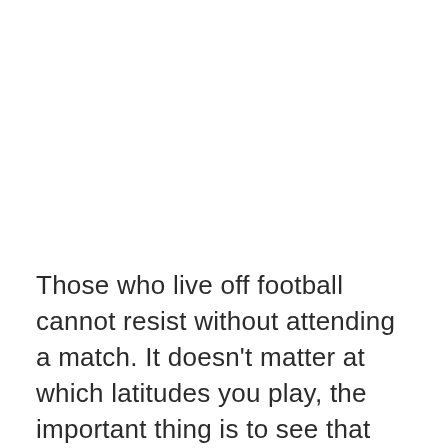Those who live off football cannot resist without attending a match. It doesn't matter at which latitudes you play, the important thing is to see that ball roll and go into the goal. Ah, and anyway, tonight the European Under 19...